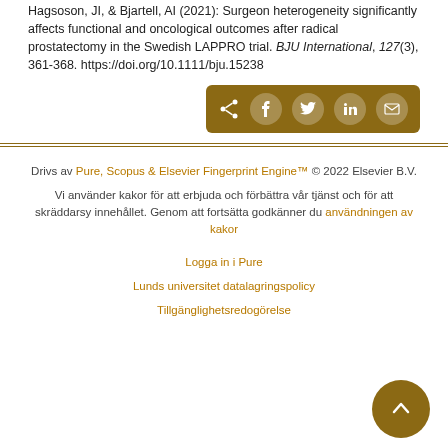Hagsoson, JI, & Bjartell, AI (2021): Surgeon heterogeneity significantly affects functional and oncological outcomes after radical prostatectomy in the Swedish LAPPRO trial. BJU International, 127(3), 361-368. https://doi.org/10.1111/bju.15238
[Figure (other): Share buttons bar with dark gold background containing share icon, Facebook, Twitter, LinkedIn, and email icons]
Drivs av Pure, Scopus & Elsevier Fingerprint Engine™ © 2022 Elsevier B.V.
Vi använder kakor för att erbjuda och förbättra vår tjänst och för att skräddarsy innehållet. Genom att fortsätta godkänner du användningen av kakor
Logga in i Pure
Lunds universitet datalagringspolicy
Tillgänglighetsredogörelse